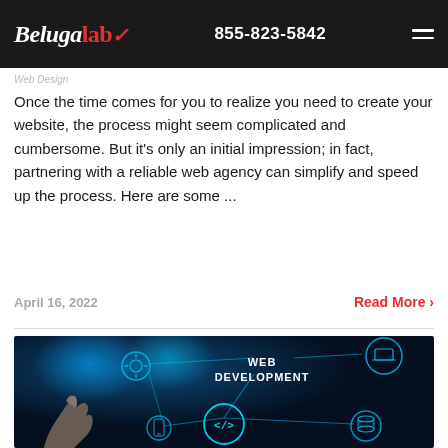BelugaLab | 855-823-5842
Web Design
Once the time comes for you to realize you need to create your website, the process might seem complicated and cumbersome. But it's only an initial impression; in fact, partnering with a reliable web agency can simplify and speed up the process. Here are some ...
April 16, 2022
Read More ›
[Figure (photo): Dark blue technology background with glowing circuit network icons, text reading WEB DEVELOPMENT in the center, surrounded by connected circular icons (laptop, code tags </>, database, gear, mobile) with neon blue interconnecting lines, and a finger pointing upward from the bottom left.]